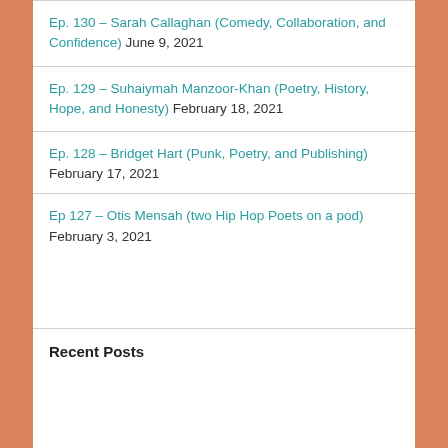Ep. 130 – Sarah Callaghan (Comedy, Collaboration, and Confidence) June 9, 2021
Ep. 129 – Suhaiymah Manzoor-Khan (Poetry, History, Hope, and Honesty) February 18, 2021
Ep. 128 – Bridget Hart (Punk, Poetry, and Publishing) February 17, 2021
Ep 127 – Otis Mensah (two Hip Hop Poets on a pod) February 3, 2021
Recent Posts